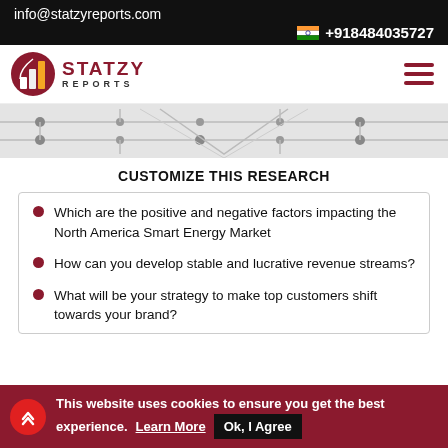info@statzyreports.com
+918484035727
[Figure (logo): Statzy Reports logo with circular bar chart icon in dark red and gold, text STATZY REPORTS in dark red]
[Figure (illustration): Grey circuit board pattern banner]
CUSTOMIZE THIS RESEARCH
Which are the positive and negative factors impacting the North America Smart Energy Market
How can you develop stable and lucrative revenue streams?
What will be your strategy to make top customers shift towards your brand?
This website uses cookies to ensure you get the best experience. Learn More Ok, I Agree